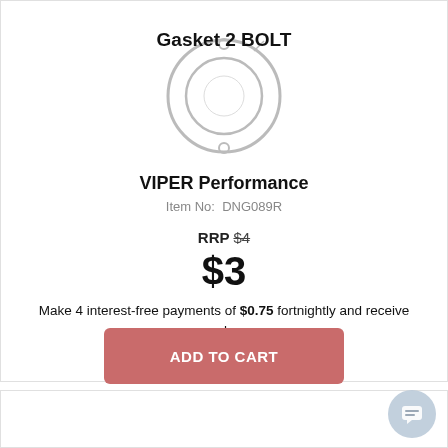[Figure (illustration): Gasket 2 BOLT product image - circular gasket diagram at top of card]
Gasket 2 BOLT
VIPER Performance
Item No: DNG089R
RRP $4
$3
Make 4 interest-free payments of $0.75 fortnightly and receive your order now.
ADD TO CART
[Figure (photo): Partial image of engine/mechanical part at the bottom of the page]